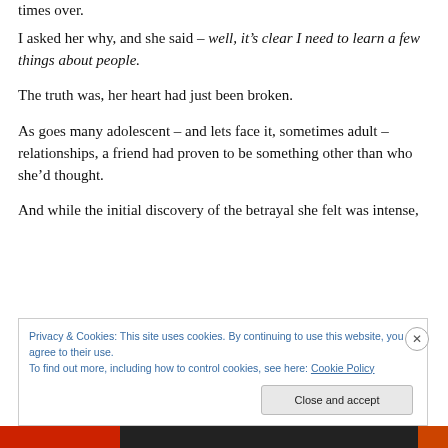times over.
I asked her why, and she said – well, it’s clear I need to learn a few things about people.
The truth was, her heart had just been broken.
As goes many adolescent – and lets face it, sometimes adult – relationships, a friend had proven to be something other than who she’d thought.
And while the initial discovery of the betrayal she felt was intense,
Privacy & Cookies: This site uses cookies. By continuing to use this website, you agree to their use.
To find out more, including how to control cookies, see here: Cookie Policy
Close and accept